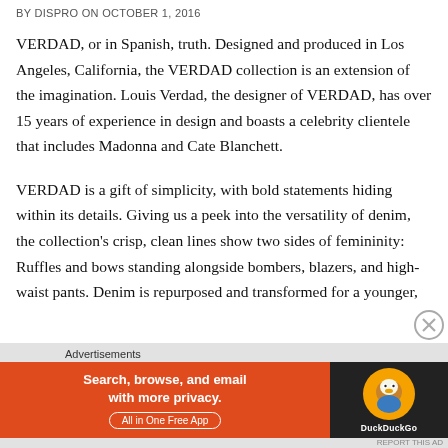BY DISPRO ON OCTOBER 1, 2016
VERDAD, or in Spanish, truth. Designed and produced in Los Angeles, California, the VERDAD collection is an extension of the imagination. Louis Verdad, the designer of VERDAD, has over 15 years of experience in design and boasts a celebrity clientele that includes Madonna and Cate Blanchett.
VERDAD is a gift of simplicity, with bold statements hiding within its details. Giving us a peek into the versatility of denim, the collection’s crisp, clean lines show two sides of femininity: Ruffles and bows standing alongside bombers, blazers, and high-waist pants. Denim is repurposed and transformed for a younger,
[Figure (infographic): DuckDuckGo advertisement banner: orange section with text 'Search, browse, and email with more privacy. All in One Free App', and dark section with DuckDuckGo duck logo. Labeled 'Advertisements' above.]